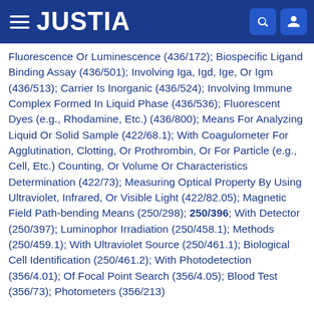JUSTIA
Fluorescence Or Luminescence (436/172); Biospecific Ligand Binding Assay (436/501); Involving Iga, Igd, Ige, Or Igm (436/513); Carrier Is Inorganic (436/524); Involving Immune Complex Formed In Liquid Phase (436/536); Fluorescent Dyes (e.g., Rhodamine, Etc.) (436/800); Means For Analyzing Liquid Or Solid Sample (422/68.1); With Coagulometer For Agglutination, Clotting, Or Prothrombin, Or For Particle (e.g., Cell, Etc.) Counting, Or Volume Or Characteristics Determination (422/73); Measuring Optical Property By Using Ultraviolet, Infrared, Or Visible Light (422/82.05); Magnetic Field Path-bending Means (250/298); 250/396; With Detector (250/397); Luminophor Irradiation (250/458.1); Methods (250/459.1); With Ultraviolet Source (250/461.1); Biological Cell Identification (250/461.2); With Photodetection (356/4.01); Of Focal Point Search (356/4.05); Blood Test (356/73); Photometers (356/213)